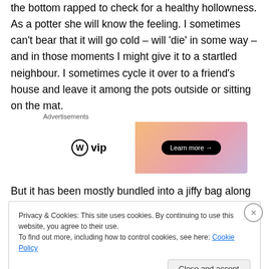the bottom rapped to check for a healthy hollowness. As a potter she will know the feeling. I sometimes can't bear that it will go cold – will 'die' in some way – and in those moments I might give it to a startled neighbour. I sometimes cycle it over to a friend's house and leave it among the pots outside or sitting on the mat.
[Figure (other): Advertisement banner for WordPress VIP with 'Learn more' button and gradient orange/pink background]
But it has been mostly bundled into a jiffy bag along with a
Privacy & Cookies: This site uses cookies. By continuing to use this website, you agree to their use.
To find out more, including how to control cookies, see here: Cookie Policy